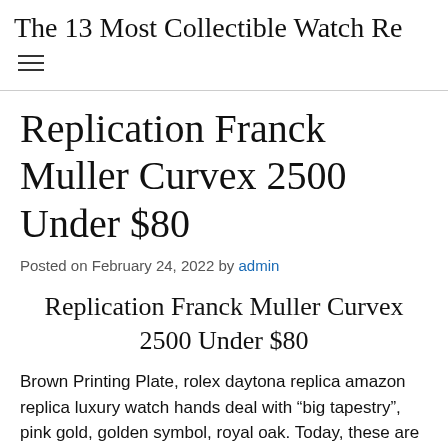The 13 Most Collectible Watch Re
Replication Franck Muller Curvex 2500 Under $80
Posted on February 24, 2022 by admin
Replication Franck Muller Curvex 2500 Under $80
Brown Printing Plate, rolex daytona replica amazon replica luxury watch hands deal with “big tapestry”, pink gold, golden symbol, royal oak. Today, these are the most